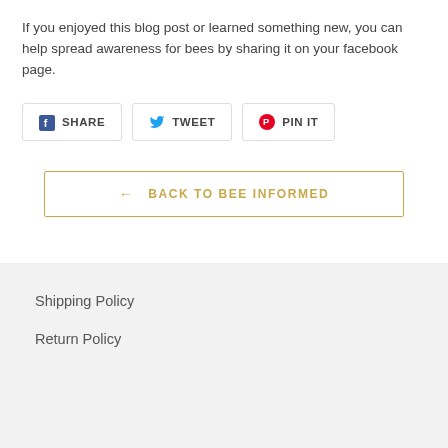If you enjoyed this blog post or learned something new, you can help spread awareness for bees by sharing it on your facebook page.
[Figure (other): Social share buttons: Facebook SHARE, Twitter TWEET, Pinterest PIN IT]
← BACK TO BEE INFORMED
Shipping Policy
Return Policy